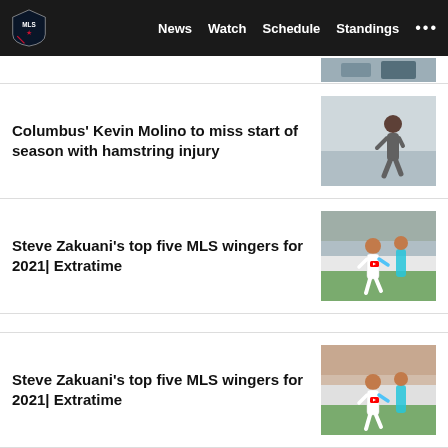MLS — News  Watch  Schedule  Standings  ...
(partial article image at top)
Columbus' Kevin Molino to miss start of season with hamstring injury
Steve Zakuani's top five MLS wingers for 2021| Extratime
Steve Zakuani's top five MLS wingers for 2021| Extratime